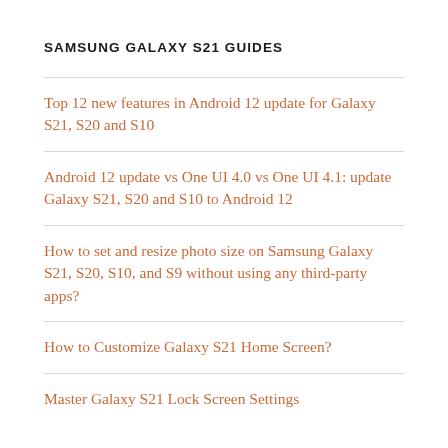SAMSUNG GALAXY S21 GUIDES
Top 12 new features in Android 12 update for Galaxy S21, S20 and S10
Android 12 update vs One UI 4.0 vs One UI 4.1: update Galaxy S21, S20 and S10 to Android 12
How to set and resize photo size on Samsung Galaxy S21, S20, S10, and S9 without using any third-party apps?
How to Customize Galaxy S21 Home Screen?
Master Galaxy S21 Lock Screen Settings